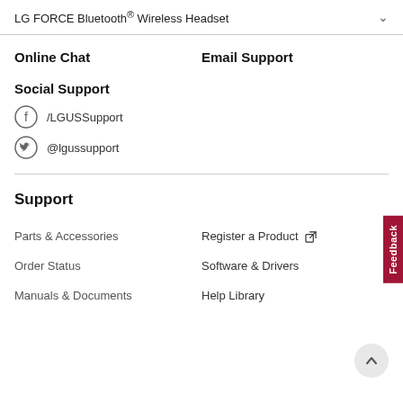LG FORCE Bluetooth® Wireless Headset
Online Chat
Email Support
Social Support
/LGUSSupport
@lgussupport
Support
Parts & Accessories
Register a Product
Order Status
Software & Drivers
Manuals & Documents
Help Library